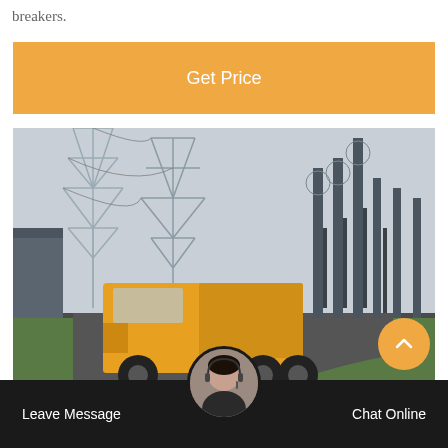breakers.
[Figure (other): Orange 'Get Price' button banner]
[Figure (photo): Electrical power substation with high-voltage transmission towers and a yellow truck driving on a road through the facility]
[Figure (other): Scroll-to-top orange circular button with upward chevron]
[Figure (other): Bottom navigation bar with 'Leave Message' and 'Chat Online' options and a customer service agent avatar]
fi   ff   i   C   Si   l   El S l   i